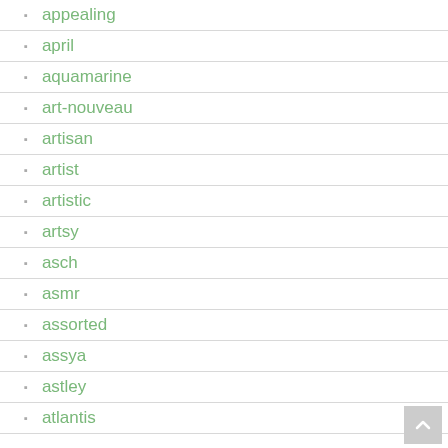appealing
april
aquamarine
art-nouveau
artisan
artist
artistic
artsy
asch
asmr
assorted
assya
astley
atlantis